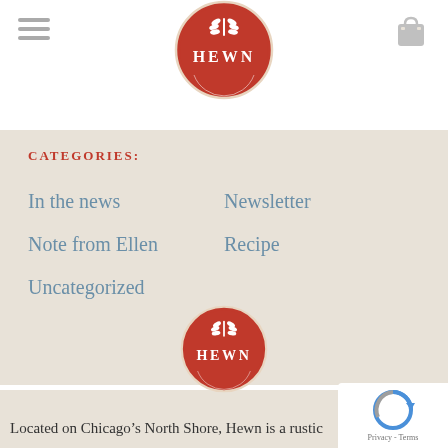[Figure (logo): HEWN bakery logo - red circle with wheat graphic and HEWN text, top position]
CATEGORIES:
In the news
Newsletter
Note from Ellen
Recipe
Uncategorized
[Figure (logo): HEWN bakery logo - red circle with wheat graphic and HEWN text, bottom position]
Located on Chicago’s North Shore, Hewn is a rustic